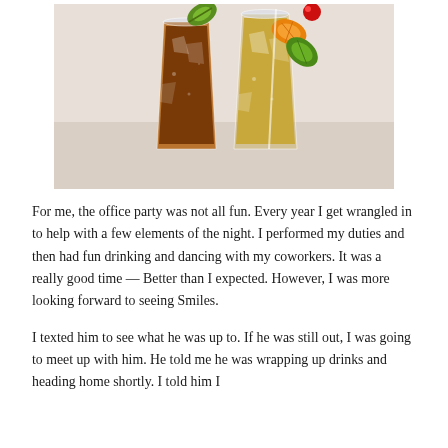[Figure (photo): Two tall cocktail glasses with ice. Left glass contains a dark brown drink (iced tea or cola-based cocktail) garnished with a lime slice. Right glass contains a golden/amber drink garnished with an orange slice, lime slice, and a red maraschino cherry.]
For me, the office party was not all fun. Every year I get wrangled in to help with a few elements of the night. I performed my duties and then had fun drinking and dancing with my coworkers. It was a really good time — Better than I expected. However, I was more looking forward to seeing Smiles.
I texted him to see what he was up to. If he was still out, I was going to meet up with him. He told me he was wrapping up drinks and heading home shortly. I told him I